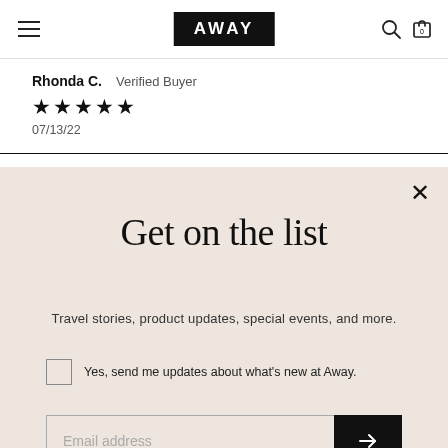AWAY navigation bar
Rhonda C.   Verified Buyer
★★★★★
07/13/22
Get on the list
Travel stories, product updates, special events, and more.
Yes, send me updates about what's new at Away.
Email address